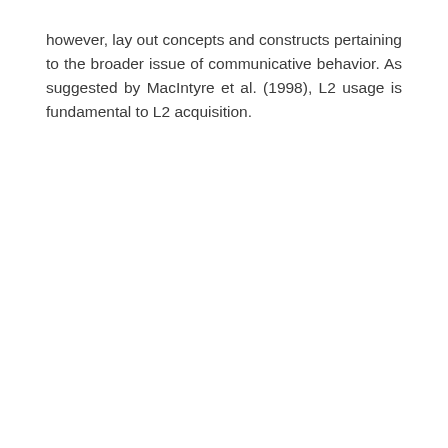however, lay out concepts and constructs pertaining to the broader issue of communicative behavior. As suggested by MacIntyre et al. (1998), L2 usage is fundamental to L2 acquisition.